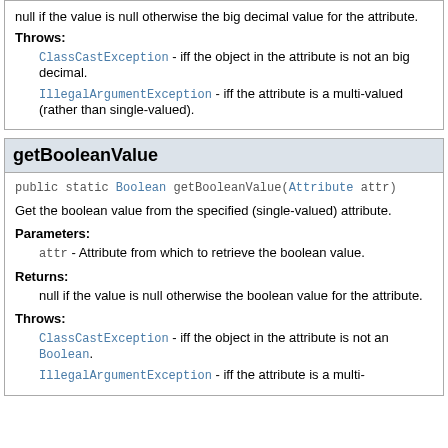null if the value is null otherwise the big decimal value for the attribute.
Throws:
ClassCastException - iff the object in the attribute is not an big decimal.
IllegalArgumentException - iff the attribute is a multi-valued (rather than single-valued).
getBooleanValue
public static Boolean getBooleanValue(Attribute attr)
Get the boolean value from the specified (single-valued) attribute.
Parameters:
attr - Attribute from which to retrieve the boolean value.
Returns:
null if the value is null otherwise the boolean value for the attribute.
Throws:
ClassCastException - iff the object in the attribute is not an Boolean.
IllegalArgumentException - iff the attribute is a multi-